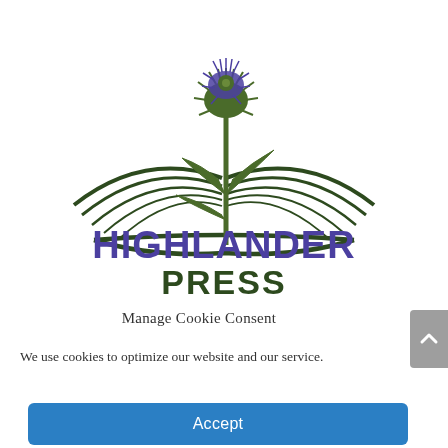[Figure (logo): Highlander Press logo: an open book with a thistle plant growing from its center, the thistle flower shown in dark blue/purple, and the plant in dark green. Below the book illustration, 'HIGHLANDER' is written in large bold purple/blue letters and 'PRESS' in large bold dark green letters.]
Manage Cookie Consent
We use cookies to optimize our website and our service.
Accept